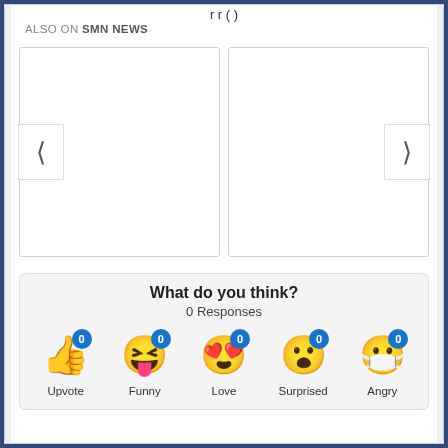r r ( )
ALSO ON SMN NEWS
[Figure (screenshot): Two content card placeholders side by side with left chevron navigation button on left card and right chevron navigation button on right card]
What do you think?
0 Responses
[Figure (infographic): Five reaction emoji with 0 counts each: Upvote (thumbs up), Funny (laughing face), Love (heart eyes), Surprised (surprised face), Angry (masked face). Each has a blue badge showing 0.]